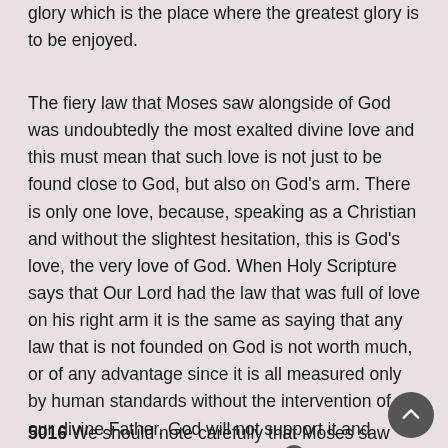glory which is the place where the greatest glory is to be enjoyed.
The fiery law that Moses saw alongside of God was undoubtedly the most exalted divine love and this must mean that such love is not just to be found close to God, but also on God's arm. There is only one love, because, speaking as a Christian and without the slightest hesitation, this is God's love, the very love of God. When Holy Scripture says that Our Lord had the law that was full of love on his right arm it is the same as saying that any law that is not founded on God is not worth much, or of any advantage since it is all measured only by human standards without the intervention of our divine Father. God will not support it and mankind will not wish to obey it. [6]
5016  We should note carefully that Moses saw